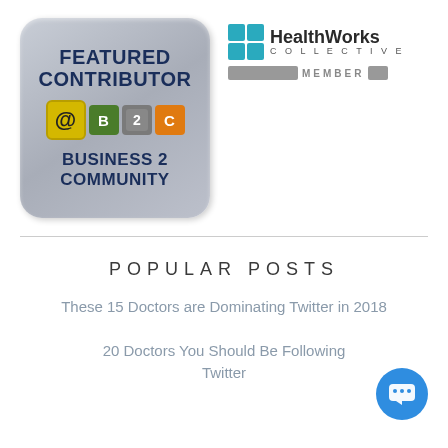[Figure (logo): Business 2 Community Featured Contributor badge - rounded rectangle badge with blue text FEATURED CONTRIBUTOR and B2C puzzle piece icons]
[Figure (logo): HealthWorks Collective Member badge with colored grid logo]
POPULAR POSTS
These 15 Doctors are Dominating Twitter in 2018
20 Doctors You Should Be Following Twitter